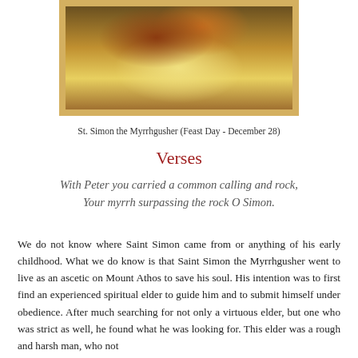[Figure (illustration): Religious icon painting of St. Simon the Myrrhgusher with golden/amber background, framed with gold border]
St. Simon the Myrrhgusher (Feast Day - December 28)
Verses
With Peter you carried a common calling and rock,
Your myrrh surpassing the rock O Simon.
We do not know where Saint Simon came from or anything of his early childhood. What we do know is that Saint Simon the Myrrhgusher went to live as an ascetic on Mount Athos to save his soul. His intention was to first find an experienced spiritual elder to guide him and to submit himself under obedience. After much searching for not only a virtuous elder, but one who was strict as well, he found what he was looking for. This elder was a rough and harsh man, who not